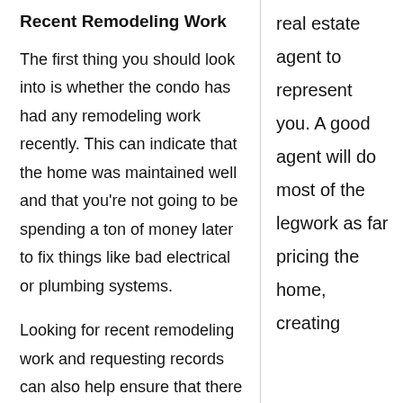Recent Remodeling Work
The first thing you should look into is whether the condo has had any remodeling work recently. This can indicate that the home was maintained well and that you're not going to be spending a ton of money later to fix things like bad electrical or plumbing systems.
Looking for recent remodeling work and requesting records can also help ensure that there are no surprises over the kind of condition the condo is in.
Reasonable Price for the Age
real estate agent to represent you. A good agent will do most of the legwork as far pricing the home, creating